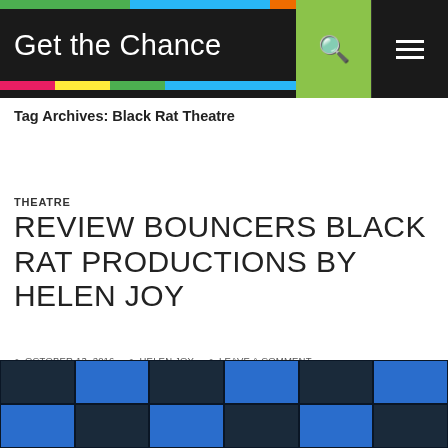Get the Chance — site navigation header with search and menu icons
Tag Archives: Black Rat Theatre
THEATRE
REVIEW BOUNCERS BLACK RAT PRODUCTIONS BY HELEN JOY
OCTOBER 13, 2016  HELEN JOY  LEAVE A COMMENT
[Figure (photo): Stage photo showing performers under a blue checkered lighting grid backdrop]